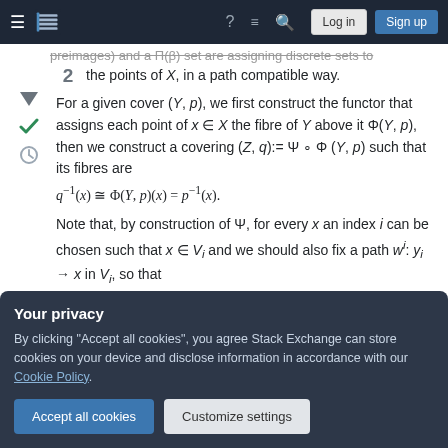Stack Exchange navigation bar with hamburger menu, logo, help, review, search, Log in, Sign up
preimages) and a Π(β) set are assigning discrete sets to the points of X, in a path compatible way.
For a given cover (Y, p), we first construct the functor that assigns each point of x ∈ X the fibre of Y above it Φ(Y, p), then we construct a covering (Z, q):= Ψ ∘ Φ(Y, p) such that its fibres are q⁻¹(x) ≅ Φ(Y, p)(x) = p⁻¹(x).
Note that, by construction of Ψ, for every x an index i can be chosen such that x ∈ Vᵢ and we should also fix a path wⁱ: yᵢ → x in Vᵢ, so that
Your privacy
By clicking "Accept all cookies", you agree Stack Exchange can store cookies on your device and disclose information in accordance with our Cookie Policy.
(Since Vᵢ was chosen to be simply connected, this